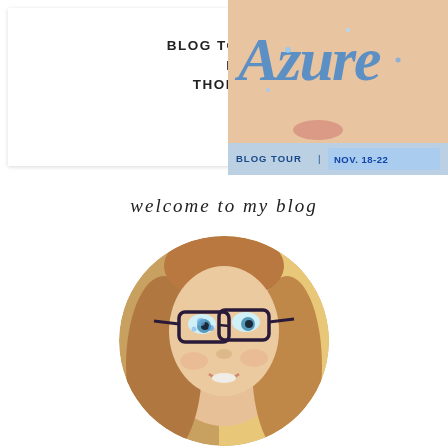[Figure (infographic): Blog tour promotional card for Azure by Chrystalla Thoma with book cover image showing a girl's face with blue glitter text overlay, and a blog tour date banner NOV. 18-22]
next
BLOG TOUR FOR AZURE BY CHRYSTALLA THOMA + GIVEAWAY!
BLOG TOUR | NOV. 18-22
welcome to my blog
[Figure (photo): Circular cropped profile photo of a young woman with long brown hair wearing dark-framed glasses, smiling, with blue glitter paint on her face and glasses]